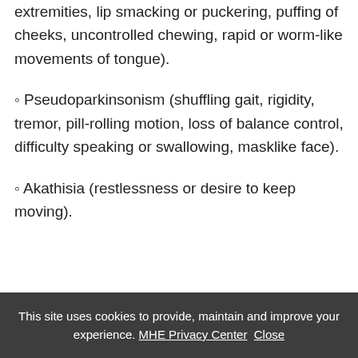extremities, lip smacking or puckering, puffing of cheeks, uncontrolled chewing, rapid or worm-like movements of tongue).
◦ Pseudoparkinsonism (shuffling gait, rigidity, tremor, pill-rolling motion, loss of balance control, difficulty speaking or swallowing, masklike face).
◦ Akathisia (restlessness or desire to keep moving).
This site uses cookies to provide, maintain and improve your experience. MHE Privacy Center  Close